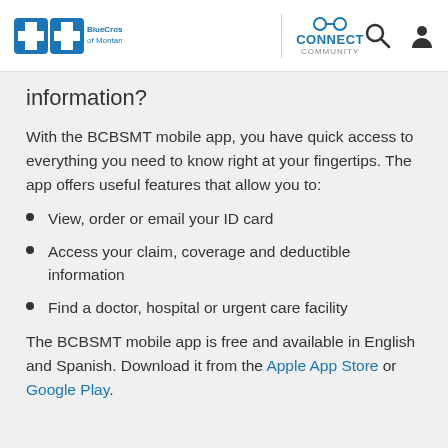BlueCross BlueShield of Montana — CONNECT COMMUNITY
information?
With the BCBSMT mobile app, you have quick access to everything you need to know right at your fingertips. The app offers useful features that allow you to:
View, order or email your ID card
Access your claim, coverage and deductible information
Find a doctor, hospital or urgent care facility
The BCBSMT mobile app is free and available in English and Spanish. Download it from the Apple App Store or Google Play.